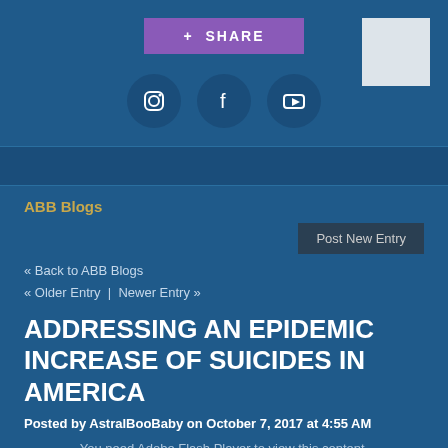[Figure (infographic): Purple share button with plus sign, white box in top right corner, and three social media icon circles (Instagram, Facebook, YouTube) on a dark blue background]
ABB Blogs
Post New Entry
« Back to ABB Blogs
« Older Entry  |  Newer Entry »
ADDRESSING AN EPIDEMIC INCREASE OF SUICIDES IN AMERICA
Posted by AstralBooBaby on October 7, 2017 at 4:55 AM
You need Adobe Flash Player to view this content.